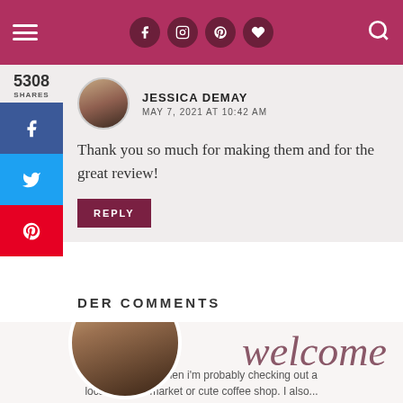Navigation header with hamburger menu, social icons (Facebook, Instagram, Pinterest, heart), and search icon
5308
SHARES
Jessica DeMay
MAY 7, 2021 AT 10:42 AM
Thank you so much for making them and for the great review!
REPLY
DER COMMENTS
[Figure (photo): Circular profile photo of a woman with dark hair]
welcome
if i'm not baking then i'm probably checking out a local farmers market or cute coffee shop. I also...